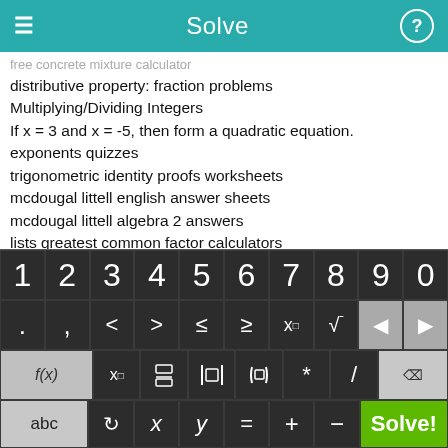Solve
free concrete mixture calculator
distributive property: fraction problems
Multiplying/Dividing Integers
If x = 3 and x = -5, then form a quadratic equation.
exponents quizzes
trigonometric identity proofs worksheets
mcdougal littell english answer sheets
mcdougal littell algebra 2 answers
lists greatest common factor calculators
convert percent to fraction online calculator
solving equations using matlab
[Figure (screenshot): On-screen math keyboard with digits 1-0, symbols like <, >, ≤, ≥, x^□, √, arrows, f(x), x subscript, fraction, absolute value, parentheses, *, /, delete, abc, rotation, x, y, =, +, -, and a green Solve! button]